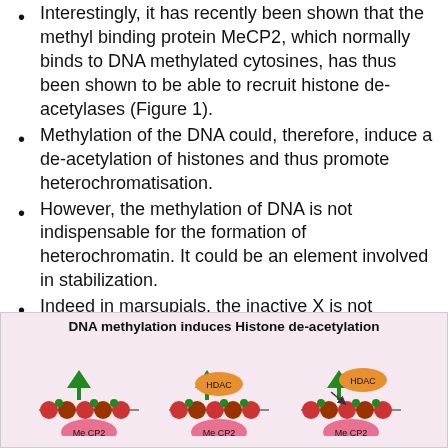Interestingly, it has recently been shown that the methyl binding protein MeCP2, which normally binds to DNA methylated cytosines, has thus been shown to be able to recruit histone de-acetylases (Figure 1).
Methylation of the DNA could, therefore, induce a de-acetylation of histones and thus promote heterochromatisation.
However, the methylation of DNA is not indispensable for the formation of heterochromatin. It could be an element involved in stabilization.
Indeed in marsupials, the inactive X is not methylated and is much less stable than in eutherian mammals.
[Figure (illustration): Diagram titled 'DNA methylation induces Histone de-acetylation' showing three panels with nucleosomes (red/green beads on a strand), green triangle flags, pink MeCP2 ovals, and orange HDAC ovals, illustrating the recruitment of HDAC by MeCP2 bound to methylated DNA.]